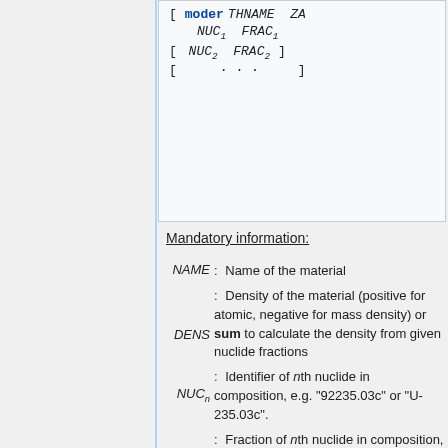Mandatory information:
NAME : Name of the material
DENS : Density of the material (positive for atomic, negative for mass density) or sum to calculate the density from given nuclide fractions
NUCn : Identifier of nth nuclide in composition, e.g. "92235.03c" or "U-235.03c".
FRACn : Fraction of nth nuclide in composition, positive values are interpreted as atomic fractions/densities, negative